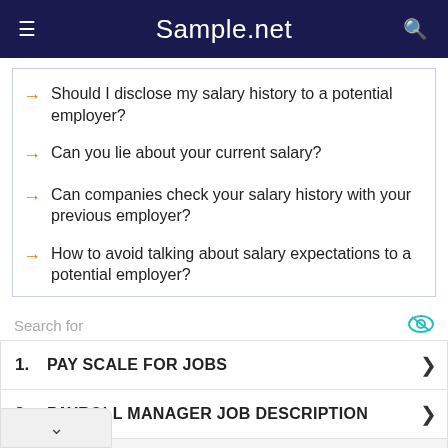Sample.net
Should I disclose my salary history to a potential employer?
Can you lie about your current salary?
Can companies check your salary history with your previous employer?
How to avoid talking about salary expectations to a potential employer?
Search for
1. PAY SCALE FOR JOBS
2. PAYROLL MANAGER JOB DESCRIPTION
VERAGE JOB SALARIES